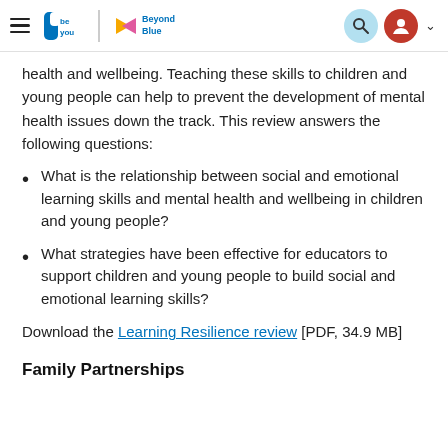be you | Beyond Blue — navigation header with hamburger menu, search and profile icons
health and wellbeing. Teaching these skills to children and young people can help to prevent the development of mental health issues down the track. This review answers the following questions:
What is the relationship between social and emotional learning skills and mental health and wellbeing in children and young people?
What strategies have been effective for educators to support children and young people to build social and emotional learning skills?
Download the Learning Resilience review [PDF, 34.9 MB]
Family Partnerships